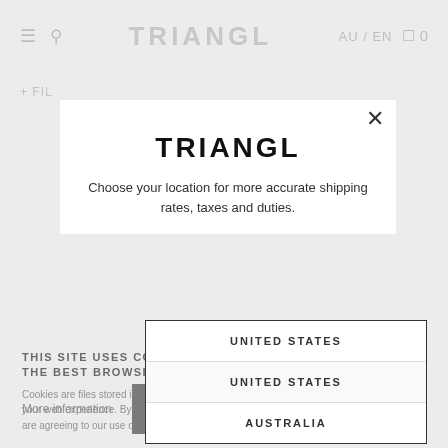TRIANGL — AU / EN — 0
+ FIL
[Figure (screenshot): TRIANGL e-commerce website location selection modal overlay showing logo, descriptive text, and a dropdown with UNITED STATES and AUSTRALIA options]
TRIANGL
Choose your location for more accurate shipping rates, taxes and duties.
UNITED STATES
UNITED STATES
AUSTRALIA
THIS SITE USES COOKIES WHICH ALLOW US TO GIVE YOU THE BEST BROWSING EXPERIENCE POSSIBLE
Cookies are files stored in your browser and are used by most websites to help personalize your web experience. By continuing to use our website without changing the settings, you are agreeing to our use of cookies. To find out more, please see our Privacy Policy.
More information
ACCEPT